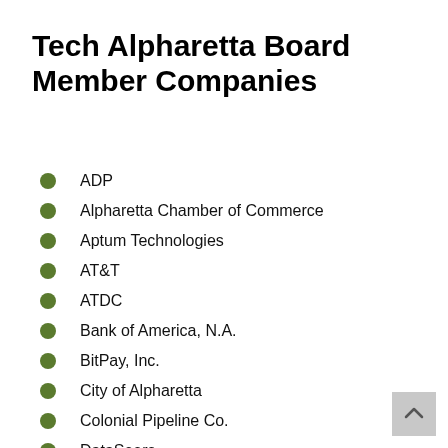Tech Alpharetta Board Member Companies
ADP
Alpharetta Chamber of Commerce
Aptum Technologies
AT&T
ATDC
Bank of America, N.A.
BitPay, Inc.
City of Alpharetta
Colonial Pipeline Co.
DataSeers
Digital Scientists
Edge Solutions
Equifax Inc.